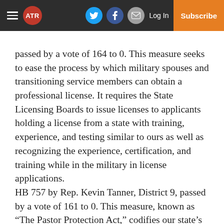ATR | Log In | Subscribe
passed by a vote of 164 to 0. This measure seeks to ease the process by which military spouses and transitioning service members can obtain a professional license. It requires the State Licensing Boards to issue licenses to applicants holding a license from a state with training, experience, and testing similar to ours as well as recognizing the experience, certification, and training while in the military in license applications.
HB 757 by Rep. Kevin Tanner, District 9, passed by a vote of 161 to 0. This measure, known as “The Pastor Protection Act,” codifies our state’s strongly held